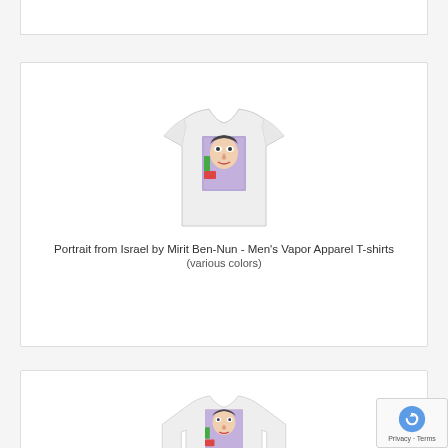[Figure (photo): Top partial white card (cropped product card from previous item)]
[Figure (photo): White t-shirt with colorful portrait artwork printed on the front]
Portrait from Israel by Mirit Ben-Nun - Men's Vapor Apparel T-shirts
(various colors)
[Figure (photo): White long-sleeve t-shirt with colorful portrait artwork printed on the front]
Portrait from Israel by Mirit Ben-Nun - Men's Vapor Apparel Long